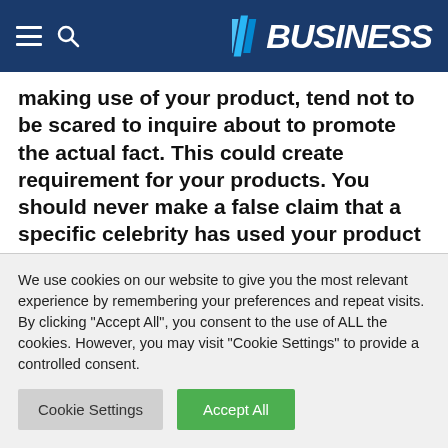BUSINESS
making use of your product, tend not to be scared to inquire about to promote the actual fact. This could create requirement for your products. You should never make a false claim that a specific celebrity has used your product since this can become a legitimate or public relations problem.
Focus on other articles published on the very same or similar topic for your use. Keep in mind to comment
We use cookies on our website to give you the most relevant experience by remembering your preferences and repeat visits. By clicking "Accept All", you consent to the use of ALL the cookies. However, you may visit "Cookie Settings" to provide a controlled consent.